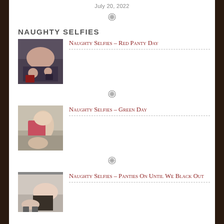July 20, 2022
[Figure (illustration): Decorative ornament divider symbol]
NAUGHTY SELFIES
Naughty Selfies – Red Panty Day
[Figure (illustration): Decorative ornament divider symbol]
Naughty Selfies – Green Day
[Figure (illustration): Decorative ornament divider symbol]
Naughty Selfies – Panties On Until We Black Out